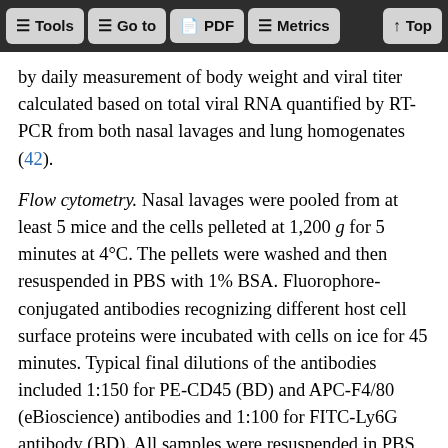Tools | Go to | PDF | Metrics | Top
by daily measurement of body weight and viral titer calculated based on total viral RNA quantified by RT-PCR from both nasal lavages and lung homogenates (42).
Flow cytometry. Nasal lavages were pooled from at least 5 mice and the cells pelleted at 1,200 g for 5 minutes at 4°C. The pellets were washed and then resuspended in PBS with 1% BSA. Fluorophore-conjugated antibodies recognizing different host cell surface proteins were incubated with cells on ice for 45 minutes. Typical final dilutions of the antibodies included 1:150 for PE-CD45 (BD) and APC-F4/80 (eBioscience) antibodies and 1:100 for FITC-Ly6G antibody (BD). All samples were resuspended in PBS with 1% BSA and analyzed on a BD